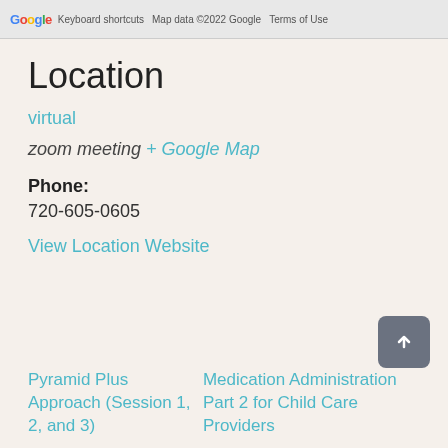[Figure (screenshot): Partial Google Maps screenshot showing Google logo, Keyboard shortcuts, Map data ©2022 Google, Terms of Use labels at the top]
Location
virtual
zoom meeting + Google Map
Phone:
720-605-0605
View Location Website
Pyramid Plus Approach (Session 1, 2, and 3)
Medication Administration Part 2 for Child Care Providers